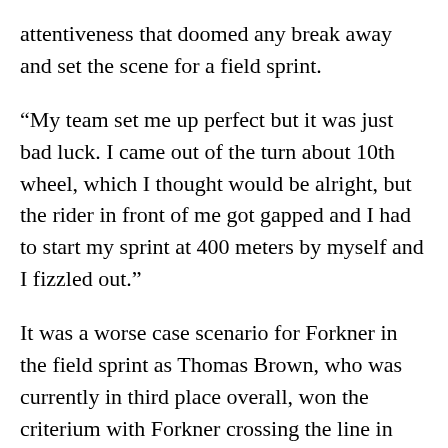attentiveness that doomed any break away and set the scene for a field sprint.
“My team set me up perfect but it was just bad luck. I came out of the turn about 10th wheel, which I thought would be alright, but the rider in front of me got gapped and I had to start my sprint at 400 meters by myself and I fizzled out.”
It was a worse case scenario for Forkner in the field sprint as Thomas Brown, who was currently in third place overall, won the criterium with Forkner crossing the line in 13th place. Brown’s victory put him on not only the top step of the podium for the criterium, but also in the overall. Forkner dropped to second on general classification followed by his teammate Ben